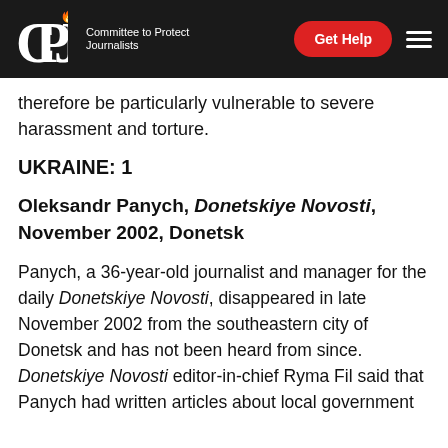CPJ — Committee to Protect Journalists | Get Help
therefore be particularly vulnerable to severe harassment and torture.
UKRAINE: 1
Oleksandr Panych, Donetskiye Novosti, November 2002, Donetsk
Panych, a 36-year-old journalist and manager for the daily Donetskiye Novosti, disappeared in late November 2002 from the southeastern city of Donetsk and has not been heard from since. Donetskiye Novosti editor-in-chief Ryma Fil said that Panych had written articles about local government...